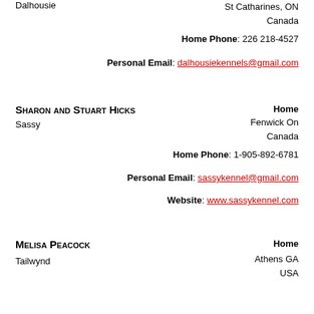Dalhousie
St Catharines, ON
Canada
Home Phone: 226 218-4527
Personal Email: dalhousiekennels@gmail.com
Sharon and Stuart Hicks
Sassy
Home
Fenwick On
Canada
Home Phone: 1-905-892-6781
Personal Email: sassykennel@gmail.com
Website: www.sassykennel.com
Melisa Peacock
Tailwynd
Home
Athens GA
USA